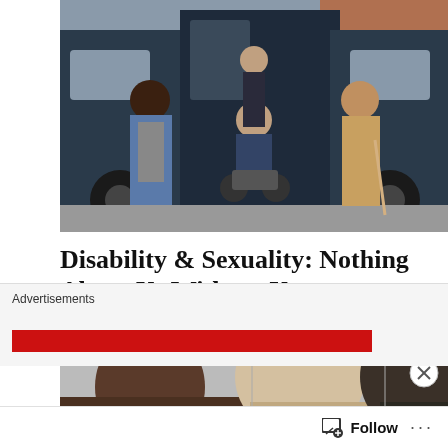[Figure (photo): Four people posing in front of a large van. From left: a Black woman in denim overalls, a young man in dark clothes sitting in a wheelchair in the van doorway, a person in a dark blue jacket standing behind in the van, and a man in a tan jacket holding a cane standing to the right. Brick wall visible in background.]
Disability & Sexuality: Nothing About Us Without Us
19th Jul 2020
In "Film"
[Figure (photo): Partial photo showing three people's faces/heads, cropped at the bottom of the page.]
Advertisements
Follow